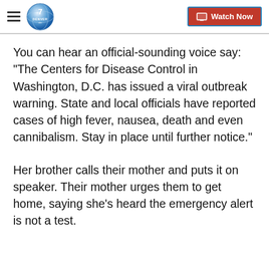Denver7 - Watch Now
You can hear an official-sounding voice say: "The Centers for Disease Control in Washington, D.C. has issued a viral outbreak warning. State and local officials have reported cases of high fever, nausea, death and even cannibalism. Stay in place until further notice."
Her brother calls their mother and puts it on speaker. Their mother urges them to get home, saying she's heard the emergency alert is not a test.